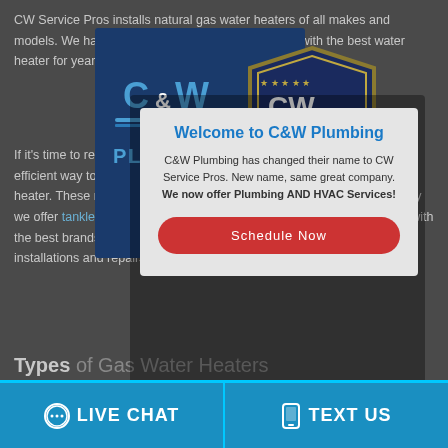CW Service Pros installs natural gas water heaters of all makes and models. We have helped homeowners save money with the best water heater for years.
If it's time to replace your water heater or if you're looking for a more efficient way to heat your water, you might consider installing a gas water heater. These models are becoming more efficient all the time. That's why we offer tankless options too. If you choose us we can save you money with the best brands, like Noritz, and we also provide the most efficient installations and repairs.
[Figure (logo): C&W Plumbing logo with page-curl effect revealing CW Service Pros shield logo]
[Figure (screenshot): Welcome modal popup with title 'Welcome to C&W Plumbing', body text about name change to CW Service Pros, and Schedule Now button]
Types of Gas Water Heaters
LIVE CHAT
TEXT US